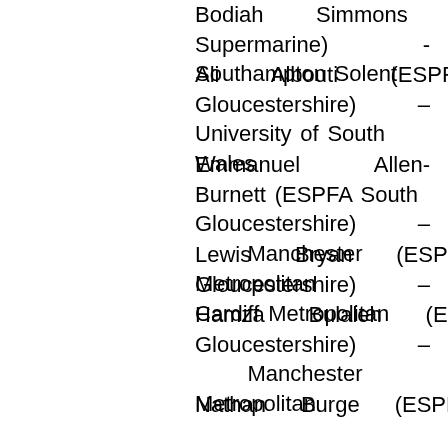Bodiah Simmons (Swindon Supermarine) - Southampton Solent
Ali Albouti (ESPFA South Gloucestershire) – University of South Wales
Emmanuel Allen-Burnett (ESPFA South Gloucestershire) – Manchester Metropolitan
Lewis Bryan (ESPFA South Gloucestershire) – Cardiff Metropolitan
Hamza Bulaleh (ESPFA South Gloucestershire) – Manchester Metropolitan
Nathan Burge (ESPFA South Gloucestershire) – Hartpury University
Jarnell Japi (ESPFA South Gloucestershire) – Manchester Metropolitan
Noah Long (ESPFA South Gloucestershire) – Manchester Metropolitan